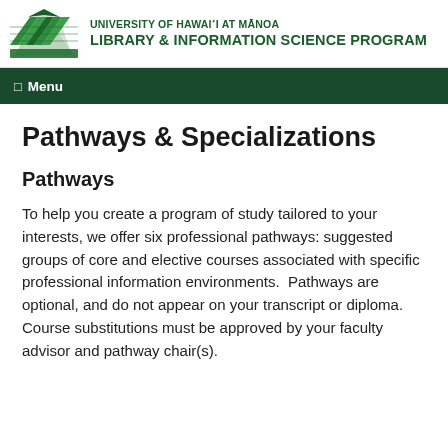University of Hawai'i at Mānoa Library & Information Science Program
Menu
Pathways & Specializations
Pathways
To help you create a program of study tailored to your interests, we offer six professional pathways: suggested groups of core and elective courses associated with specific professional information environments.  Pathways are optional, and do not appear on your transcript or diploma.  Course substitutions must be approved by your faculty advisor and pathway chair(s).